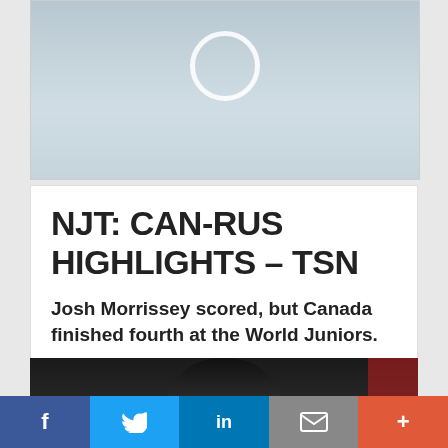[Figure (photo): Hockey game scene on ice rink with a white play button circle overlay and player in red jersey]
NJT: CAN-RUS HIGHLIGHTS – TSN
Josh Morrissey scored, but Canada finished fourth at the World Juniors.
[Figure (photo): Close-up of hockey player wearing black helmet with Canadian team logo]
f  Twitter  in  email  +